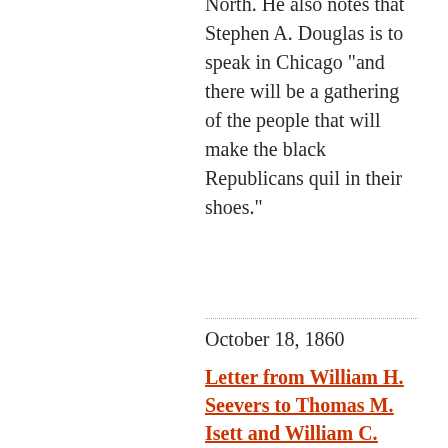North. He also notes that Stephen A. Douglas is to speak in Chicago "and there will be a gathering of the people that will make the black Republicans quil in their shoes."
October 18, 1860
Letter from William H. Seevers to Thomas M. Isett and William C. Brewster, October 18, 1860
In this letter from October 18, 1860, William H. Seevers writes to Thomas M. Isett and William C. Brewster regarding the sale of their land near Oskaloosa, Iowa for right-of-way and depot ground. He states that although the exact location of the railroad depot has yet to be determined,